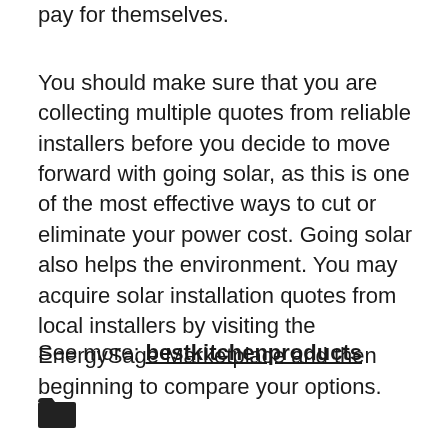pay for themselves.
You should make sure that you are collecting multiple quotes from reliable installers before you decide to move forward with going solar, as this is one of the most effective ways to cut or eliminate your power cost. Going solar also helps the environment. You may acquire solar installation quotes from local installers by visiting the EnergySage Marketplace and then beginning to compare your options.
See more: bestkitchenproducts
[Figure (illustration): Folder icon at the bottom left of the page]